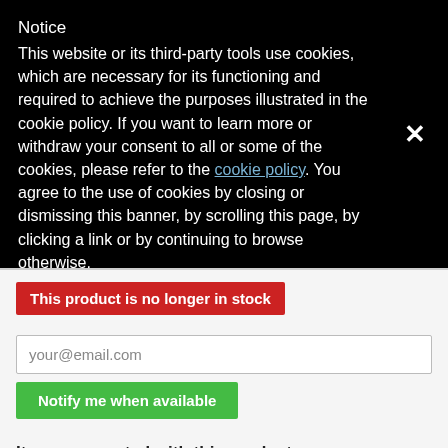Notice
This website or its third-party tools use cookies, which are necessary for its functioning and required to achieve the purposes illustrated in the cookie policy. If you want to learn more or withdraw your consent to all or some of the cookies, please refer to the cookie policy. You agree to the use of cookies by closing or dismissing this banner, by scrolling this page, by clicking a link or by continuing to browse otherwise.
This product is no longer in stock
your@email.com
Notify me when available
Items suggested with this product:
Black Matted V-Rod Opener
Go Up